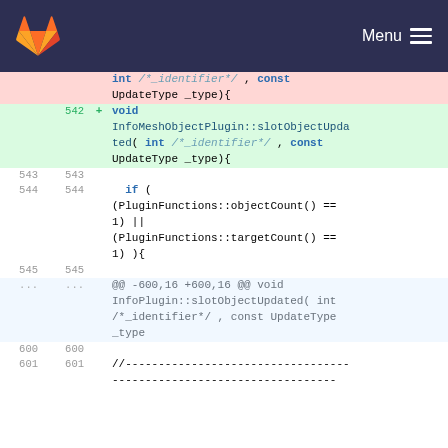GitLab Menu
[Figure (screenshot): Code diff view showing removed and added lines for a C++ function slotObjectUpdated in InfoMeshObjectPlugin]
int /*_identifier*/ , const UpdateType _type){
542 + void InfoMeshObjectPlugin::slotObjectUpdated( int /*_identifier*/ , const UpdateType _type){
543 543
544 544   if ( (PluginFunctions::objectCount() == 1) || (PluginFunctions::targetCount() == 1) ){
545 545
... ... @@ -600,16 +600,16 @@ void InfoPlugin::slotObjectUpdated( int /*_identifier*/ , const UpdateType _type
600 600
601 601 //---------------------------------------------------...